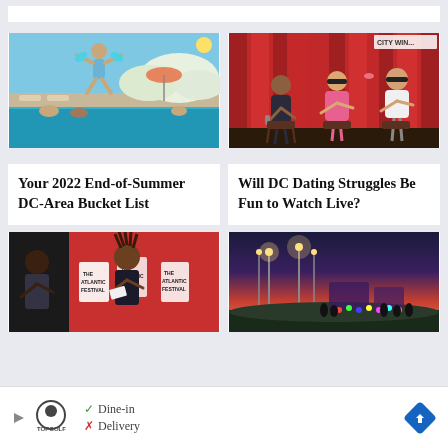[Figure (photo): Person jumping into outdoor pool, summer scene]
Your 2022 End-of-Summer DC-Area Bucket List
[Figure (photo): Three people on stage with red curtain, dating show, City Winery branding]
Will DC Dating Struggles Be Fun to Watch Live?
[Figure (photo): Two people at The Atlantic Festival event, red background]
[Figure (photo): Outdoor fair or carnival at dusk with lights]
[Figure (other): Advertisement banner: Topgolf - Dine-in checkmark, Delivery X mark, navigation arrow icon]